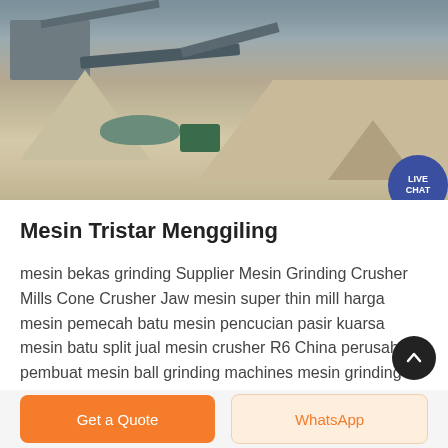[Figure (photo): Aerial view of a stone crushing / mining plant with conveyor belts, machinery, a green machine, water pool, gravel piles, and a dirt road. A 'LIVE CHAT' speech-bubble button is overlaid in the top-right corner of the image.]
Mesin Tristar Menggiling
mesin bekas grinding Supplier Mesin Grinding Crusher Mills Cone Crusher Jaw mesin super thin mill harga mesin pemecah batu mesin pencucian pasir kuarsa mesin batu split jual mesin crusher R6 China perusahaan pembuat mesin ball grinding machines mesin grinding mill mesin ball mill mesin vertical used in mining minerals in areas like
Get a Quote   WhatsApp